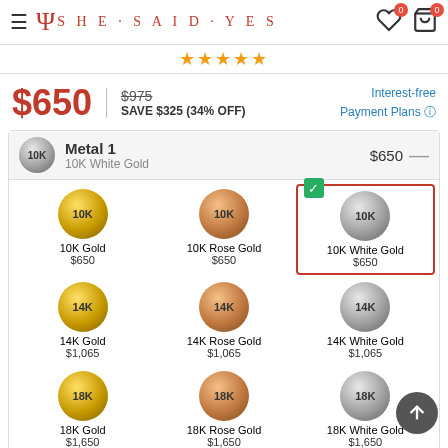She Said Yes - navigation header with logo, hamburger menu, wishlist and cart icons
★★★★★
$650   $975 strikethrough   SAVE $325 (34% OFF)   Interest-free Payment Plans
Metal 1 - 10K White Gold - $650
10K Gold $650, 10K Rose Gold $650, 10K White Gold $650 (selected), 14K Gold $1,065, 14K Rose Gold $1,065, 14K White Gold $1,065, 18K Gold $1,650, 18K Rose Gold $1,650, 18K White Gold $1,650, PT (Platinum)